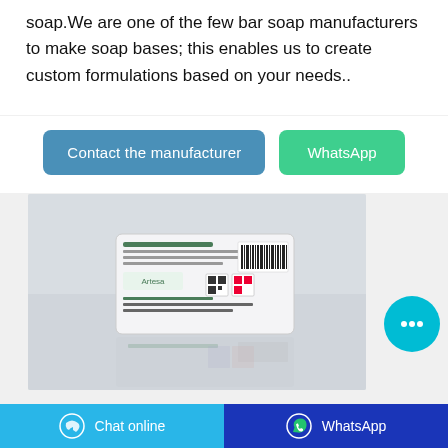soap. We are one of the few bar soap manufacturers to make soap bases; this enables us to create custom formulations based on your needs..
[Figure (other): Two buttons side by side: 'Contact the manufacturer' (blue) and 'WhatsApp' (green)]
[Figure (photo): Product photo of a white bar soap package with barcode, QR code, and printed label text, shown against a light grey background with a reflection below]
[Figure (other): Cyan circular chat bubble icon button with ellipsis (...)  on the right side]
Chat online   WhatsApp